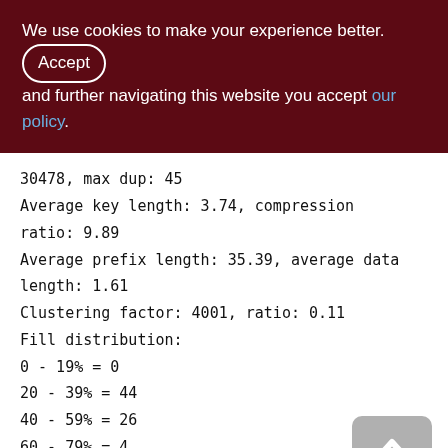We use cookies to make your experience better. By accepting and further navigating this website you accept our policy.
30478, max dup: 45
Average key length: 3.74, compression ratio: 9.89
Average prefix length: 35.39, average data length: 1.61
Clustering factor: 4001, ratio: 0.11
Fill distribution:
0 - 19% = 0
20 - 39% = 44
40 - 59% = 26
60 - 79% = 4
80 - 99% = 1